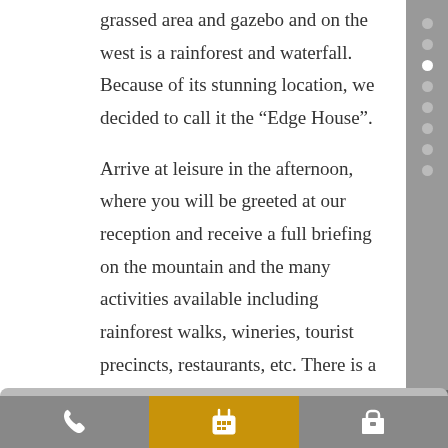grassed area and gazebo and on the west is a rainforest and waterfall. Because of its stunning location, we decided to call it the “Edge House”.
Arrive at leisure in the afternoon, where you will be greeted at our reception and receive a full briefing on the mountain and the many activities available including rainforest walks, wineries, tourist precincts, restaurants, etc. There is a small grocery store located just 2 doors away (approximately 300 metres) plus a local Supa IGA that is a 5 minute drive.
COVID-19 restrictions outlined by the government for households is followed by our property. Please make sure your group meets the requirements.